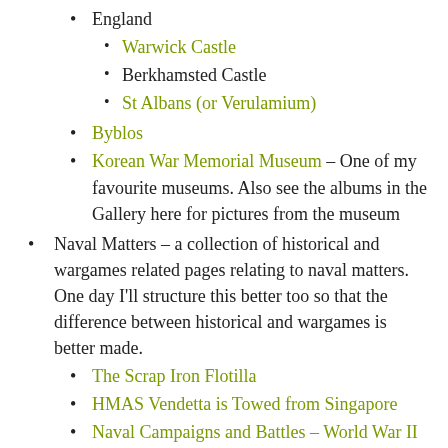England
Warwick Castle
Berkhamsted Castle
St Albans (or Verulamium)
Byblos
Korean War Memorial Museum – One of my favourite museums. Also see the albums in the Gallery here for pictures from the museum
Naval Matters – a collection of historical and wargames related pages relating to naval matters. One day I'll structure this better too so that the difference between historical and wargames is better made.
The Scrap Iron Flotilla
HMAS Vendetta is Towed from Singapore
Naval Campaigns and Battles – World War II – to May 1941